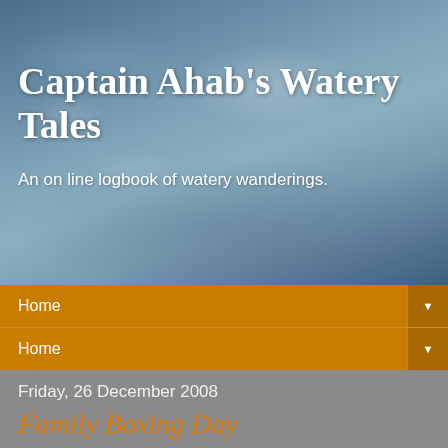[Figure (photo): Water/wave background photo in blue-grey tones forming the header banner of a blog]
Captain Ahab's Watery Tales
An on line logbook of watery wanderings.
Home
Home
Friday, 26 December 2008
Family Boxing Day
Friday 26th December 2008
Calf Heath to Coven
6 Miles
2 Hours
What better way to blow away the Christmas cobwebs than a